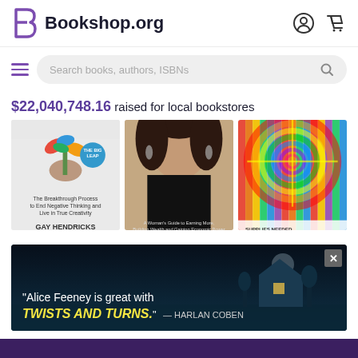Bookshop.org
Search books, authors, ISBNs
$22,040,748.16 raised for local bookstores
[Figure (photo): Three book covers displayed side by side: 'Zone - The Breakthrough Process to End Negative Thinking and Live in True Creativity' by Gay Hendricks; a book by Rachel Rodgers 'A Woman's Guide to Earning More, Building Wealth and Gaining Economic Power'; a colorful spiral/mandala cover with supplies needed list.]
[Figure (screenshot): Advertisement banner with dark teal background showing a quote: 'Alice Feeney is great with TWISTS AND TURNS.' — HARLAN COBEN, with a close button (X) in top right corner.]